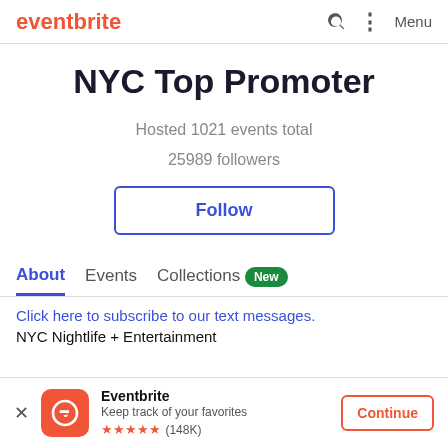eventbrite — Menu
NYC Top Promoter
Hosted 1021 events total
25989 followers
Follow
About   Events   Collections  New
Click here to subscribe to our text messages.
NYC Nightlife + Entertainment
Eventbrite — Keep track of your favorites ★★★★★ (148K) — Continue